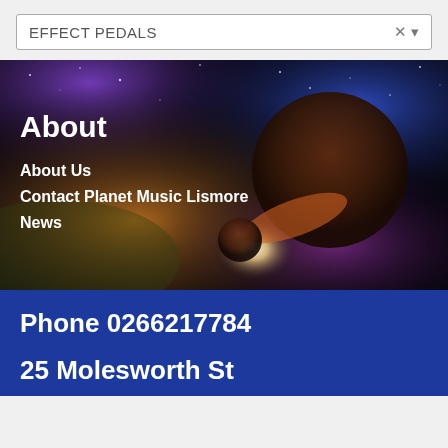[Figure (screenshot): Search bar input field showing text 'EFFECT PEDALS' with X and dropdown arrow icons on the right]
[Figure (photo): Space nebula background with a large dark planet and bright star, overlaid with menu text: About, About Us, Contact Planet Music Lismore, News]
Phone 0266217784
25 Molesworth St